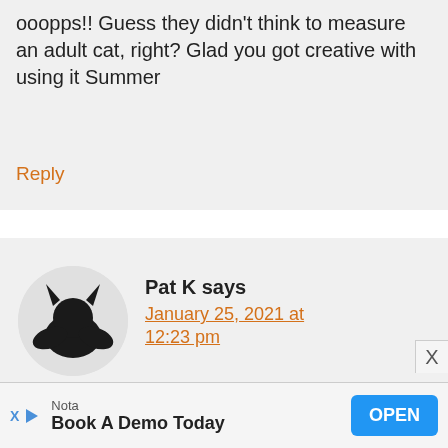ooopps!! Guess they didn't think to measure an adult cat, right? Glad you got creative with using it Summer
Reply
[Figure (illustration): User avatar circle with dark silhouette of a cat-like creature with horns and wings on grey background]
Pat K says
January 25, 2021 at 12:23 pm
If any kitten friends come to visit
Nota
Book A Demo Today
OPEN